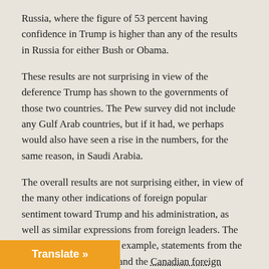Russia, where the figure of 53 percent having confidence in Trump is higher than any of the results in Russia for either Bush or Obama.
These results are not surprising in view of the deference Trump has shown to the governments of those two countries. The Pew survey did not include any Gulf Arab countries, but if it had, we perhaps would also have seen a rise in the numbers, for the same reason, in Saudi Arabia.
The overall results are not surprising either, in view of the many other indications of foreign popular sentiment toward Trump and his administration, as well as similar expressions from foreign leaders. The latter have included, for example, statements from the chancellor of Germany and the Canadian foreign minister reflecting a lack of confidence in Trump's leadership.
Boorish Behavior
Although not surprising, the importance of what the poll results indicate for the success or failure of U.S. foreign policy and the advance or [ests] is insufficiently appreciated within the United [States, and is not limited to the domestic debate...]